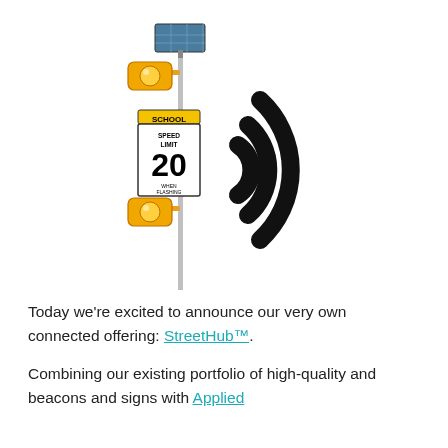[Figure (illustration): Illustration of a solar-powered school speed limit beacon pole (showing SCHOOL SPEED LIMIT 20 WHEN FLASHING sign with two yellow flashing beacons and a solar panel on top) next to a large wifi/wireless signal icon, suggesting connected/wireless capability.]
Today we're excited to announce our very own connected offering: StreetHub™.
Combining our existing portfolio of high-quality and beacons and signs with Applied